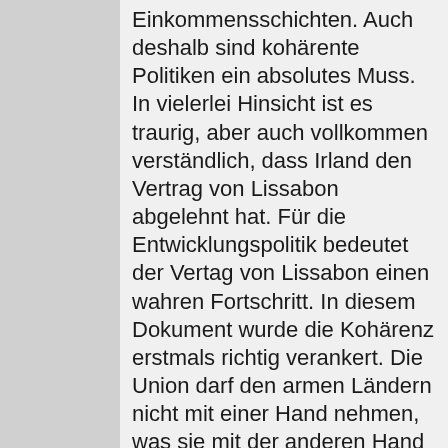Einkommensschichten. Auch deshalb sind kohärente Politiken ein absolutes Muss. In vielerlei Hinsicht ist es traurig, aber auch vollkommen verständlich, dass Irland den Vertrag von Lissabon abgelehnt hat. Für die Entwicklungspolitik bedeutet der Vertag von Lissabon einen wahren Fortschritt. In diesem Dokument wurde die Kohärenz erstmals richtig verankert. Die Union darf den armen Ländern nicht mit einer Hand nehmen, was sie mit der anderen Hand gibt. Die Politik der EU in den Bereichen Landwirtschaft, Fischerei und Handel sollte die Entwicklungspolitik nicht konterkarieren. Selbstverständlich geht es um mehrere Politikfelder, aber Rivalität zwischen den Ausschüssen des Parlaments ist nicht im Spiel. Das ist nebensächlich. Im Vertrag von